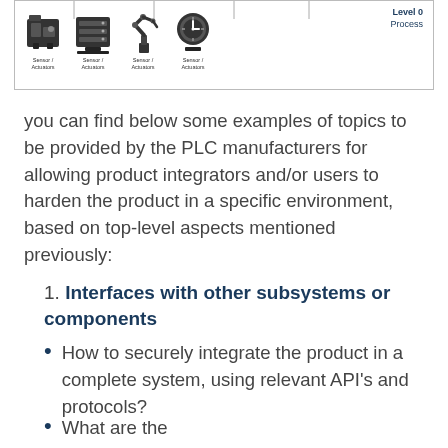[Figure (schematic): Industrial control system diagram showing Level 0 Process with icons for different machines/robots each labeled Sensor/Actuators, and connector lines above. Level 0 Process label in upper right.]
you can find below some examples of topics to be provided by the PLC manufacturers for allowing product integrators and/or users to harden the product in a specific environment, based on top-level aspects mentioned previously:
1. Interfaces with other subsystems or components
How to securely integrate the product in a complete system, using relevant API's and protocols?
What are the